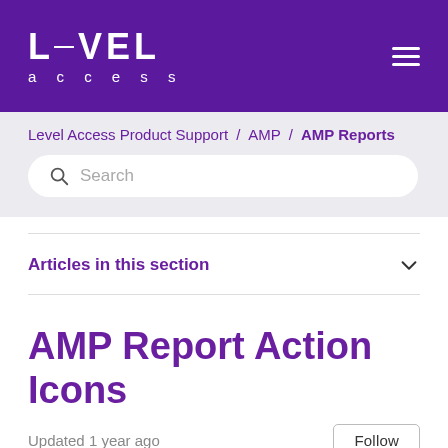LEVEL access
Level Access Product Support / AMP / AMP Reports
Search
Articles in this section
AMP Report Action Icons
Updated 1 year ago